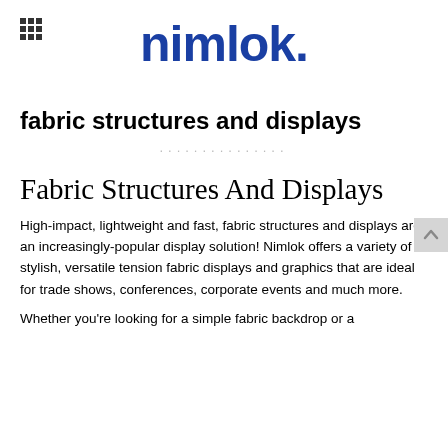nimlok.
fabric structures and displays
Fabric Structures And Displays
High-impact, lightweight and fast, fabric structures and displays are an increasingly-popular display solution! Nimlok offers a variety of stylish, versatile tension fabric displays and graphics that are ideal for trade shows, conferences, corporate events and much more.
Whether you're looking for a simple fabric backdrop or a